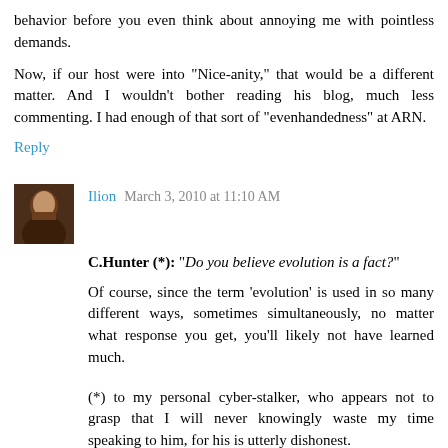behavior before you even think about annoying me with pointless demands.
Now, if our host were into "Nice-anity," that would be a different matter. And I wouldn't bother reading his blog, much less commenting. I had enough of that sort of "evenhandedness" at ARN.
Reply
Ilion March 3, 2010 at 11:10 AM
C.Hunter (*): "Do you believe evolution is a fact?"
Of course, since the term 'evolution' is used in so many different ways, sometimes simultaneously, no matter what response you get, you'll likely not have learned much.
(*) to my personal cyber-stalker, who appears not to grasp that I will never knowingly waste my time speaking to him, for his is utterly dishonest.